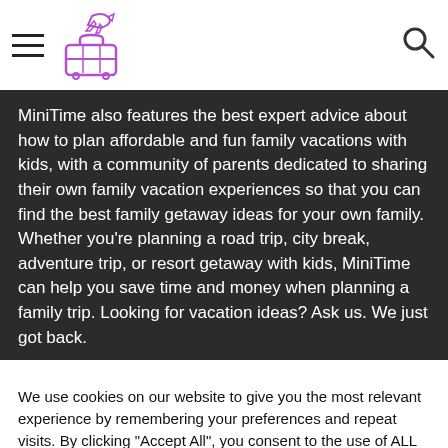MiniTime header with hamburger menu, logo, and search icon
MiniTime also features the best expert advice about how to plan affordable and fun family vacations with kids, with a community of parents dedicated to sharing their own family vacation experiences so that you can find the best family getaway ideas for your own family. Whether you're planning a road trip, city break, adventure trip, or resort getaway with kids, MiniTime can help you save time and money when planning a family trip. Looking for vacation ideas? Ask us. We just got back.
We use cookies on our website to give you the most relevant experience by remembering your preferences and repeat visits. By clicking "Accept All", you consent to the use of ALL the cookies. However, you may visit "Cookie Settings" to provide a controlled consent.